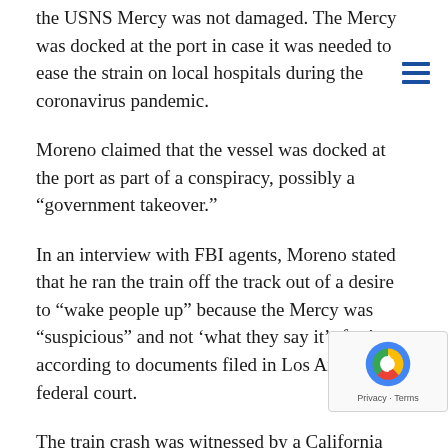the USNS Mercy was not damaged. The Mercy was docked at the port in case it was needed to ease the strain on local hospitals during the coronavirus pandemic.
Moreno claimed that the vessel was docked at the port as part of a conspiracy, possibly a “government takeover.”
In an interview with FBI agents, Moreno stated that he ran the train off the track out of a desire to “wake people up” because the Mercy was “suspicious” and not ‘what they say it’s for,’ according to documents filed in Los Angeles federal court.
The train crash was witnessed by a California Highway Patrol officer, who took Moreno into custody as he fled the scene, federal prosecutors said.
The officer reported seeing “the train smash into a concrete barrier at the end of the track, smash into a stee—